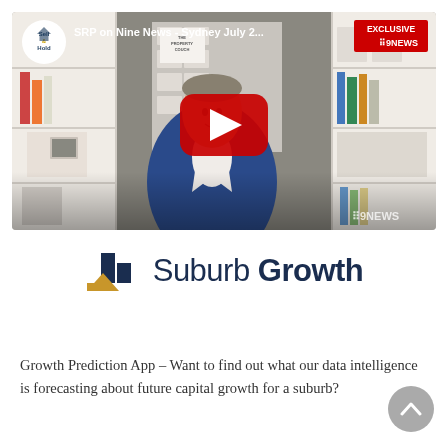[Figure (screenshot): YouTube video thumbnail showing a man in a blue suit being interviewed, with the title 'SRP on Nine News - Sydney July 2...', a Sell or Hold channel icon, and an EXCLUSIVE 9NEWS badge in the top right. A red YouTube play button is centered on the video.]
[Figure (logo): Suburb Growth logo — a bar chart icon in dark blue and gold/orange, followed by the text 'Suburb Growth' in dark navy, with 'Suburb' in regular weight and 'Growth' in bold.]
Growth Prediction App – Want to find out what our data intelligence is forecasting about future capital growth for a suburb?